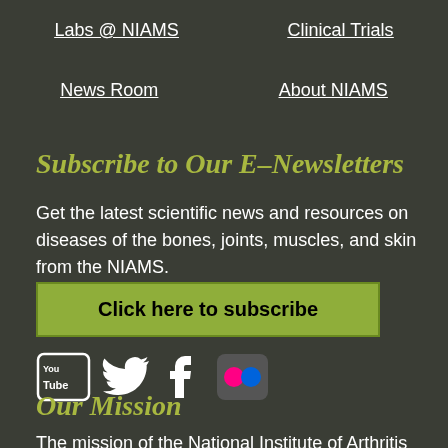Labs @ NIAMS
Clinical Trials
News Room
About NIAMS
Subscribe to Our E–Newsletters
Get the latest scientific news and resources on diseases of the bones, joints, muscles, and skin from the NIAMS.
Click here to subscribe
[Figure (infographic): Social media icons for YouTube, Twitter, Facebook, and Flickr]
Our Mission
The mission of the National Institute of Arthritis and